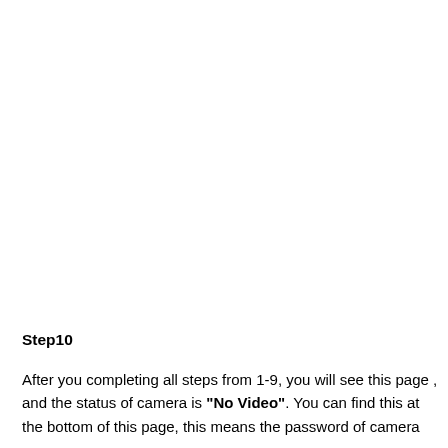Step10
After you completing all steps from 1-9, you will see this page , and the status of camera is "No Video". You can find this at the bottom of this page, this means the password of camera